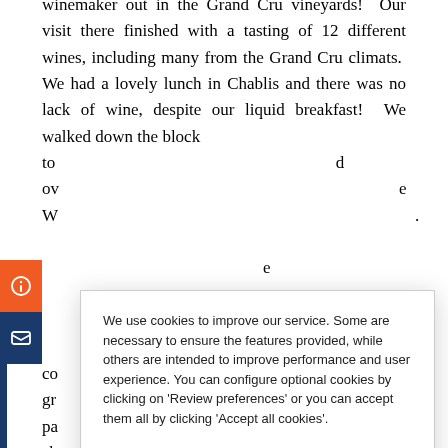winemaker out in the Grand Cru vineyards! Our visit there finished with a tasting of 12 different wines, including many from the Grand Cru climats. We had a lovely lunch in Chablis and there was no lack of wine, despite our liquid breakfast! We walked down the block to d over e W e g a co n gr of pa nt ab e h in part, by the fact that we had tasted more than 35
We use cookies to improve our service. Some are necessary to ensure the features provided, while others are intended to improve performance and user experience. You can configure optional cookies by clicking on 'Review preferences' or you can accept them all by clicking 'Accept all cookies'.
REVIEW PREFERENCES
ONLY REQUIRED COOKIES
ACCEPT ALL COOKIES